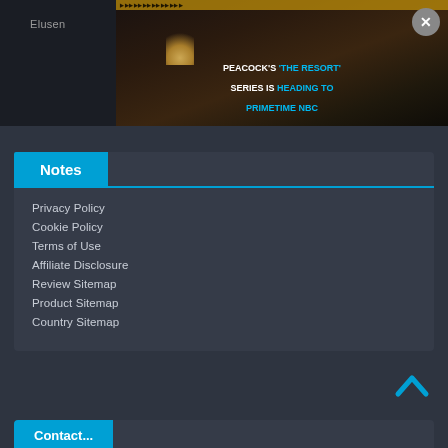[Figure (screenshot): Video thumbnail overlay showing a dark hotel room scene with text overlay: PEACOCK'S 'THE RESORT' SERIES IS HEADING TO PRIMETIME NBC]
Notes
Privacy Policy
Cookie Policy
Terms of Use
Affiliate Disclosure
Review Sitemap
Product Sitemap
Country Sitemap
[Figure (infographic): Back to top arrow icon (blue chevron up)]
Contact...